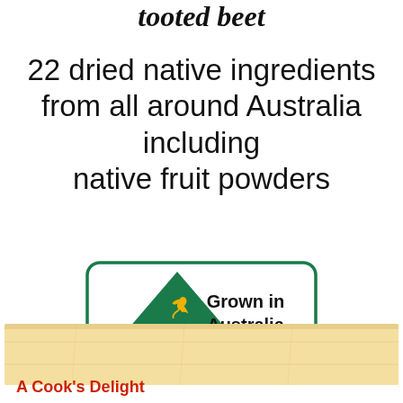tooted beet
22 dried native ingredients from all around Australia including native fruit powders
[Figure (logo): Grown in Australia certification logo: green rounded rectangle border containing a green triangle with a kangaroo silhouette and a yellow bar at the bottom, with bold text 'Grown in Australia']
[Figure (illustration): Horizontal band showing a sandy/wooden textured surface, light yellow-tan color with crack lines resembling a wooden or clay surface]
A Cook's Delight